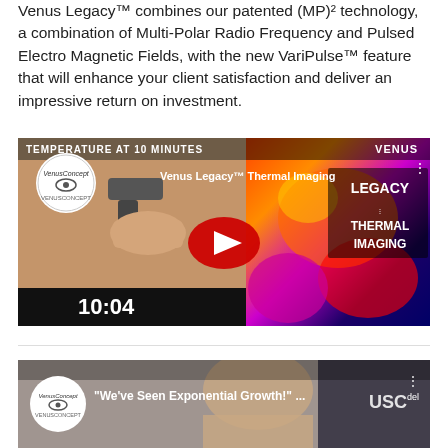Venus Legacy™ combines our patented (MP)² technology, a combination of Multi-Polar Radio Frequency and Pulsed Electro Magnetic Fields, with the new VariPulse™ feature that will enhance your client satisfaction and deliver an impressive return on investment.
[Figure (screenshot): YouTube video thumbnail for 'Venus Legacy™ Thermal Imaging' showing a hand holding a thermal temperature gun and a thermal image with 'LEGACY THERMAL IMAGING' text, with YouTube play button overlay and VenusConcept logo. Timestamp 10:04 shown at bottom.]
[Figure (screenshot): YouTube video thumbnail for 'We've Seen Exponential Growth!' with VenusConcept logo and partial view of a person's face and 'USC' text partially visible.]